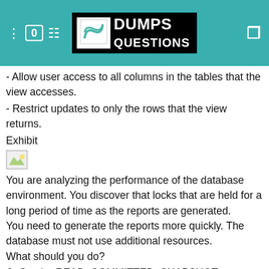DUMPS QUESTIONS
- Allow user access to all columns in the tables that the view accesses.
- Restrict updates to only the rows that the view returns.
Exhibit
[Figure (photo): Broken/missing image placeholder]
You are analyzing the performance of the database environment. You discover that locks that are held for a long period of time as the reports are generated. You need to generate the reports more quickly. The database must not use additional resources. What should you do?
A. Set the READ_COMMITTED_SNAPSHOT database option to ON.
B. Update the transaction level of the report query session to READ UNCOMMITTED.
C. Update the transaction level of the report query session